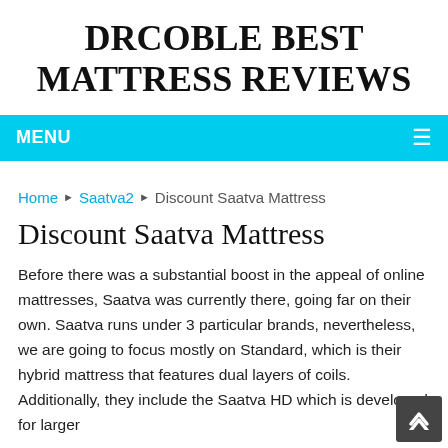DRCOBLE BEST MATTRESS REVIEWS
MENU
Home ▶ Saatva2 ▶ Discount Saatva Mattress
Discount Saatva Mattress
Before there was a substantial boost in the appeal of online mattresses, Saatva was currently there, going far on their own. Saatva runs under 3 particular brands, nevertheless, we are going to focus mostly on Standard, which is their hybrid mattress that features dual layers of coils. Additionally, they include the Saatva HD which is developed for larger